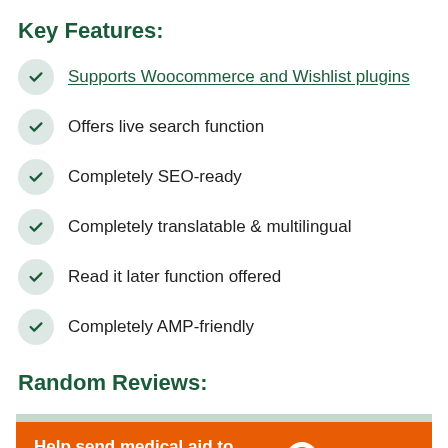Key Features:
Supports Woocommerce and Wishlist plugins
Offers live search function
Completely SEO-ready
Completely translatable & multilingual
Read it later function offered
Completely AMP-friendly
Random Reviews:
[Figure (infographic): Orange advertisement banner: 'Help send medical aid to Ukraine >>' with Direct Relief logo on the right side. A blue circular chat button is visible in the bottom right corner.]